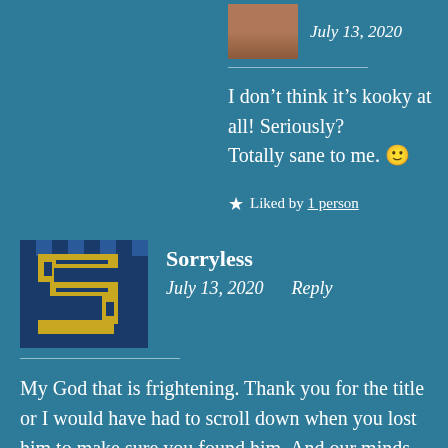July 13, 2020
I don't think it's kooky at all! Seriously? Totally sane to me. 🙂
★ Liked by 1 person
Sorryless
July 13, 2020   Reply
My God that is frightening. Thank you for the title or I would have had to scroll down when you lost him to make sure you found him. And our minds, they go right to the worst case scenario even as we attempt to stay calm. So glad your story ended this